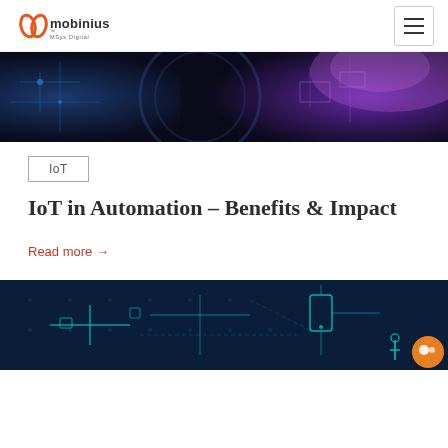mobinius MSys Digital — navigation header with hamburger menu
[Figure (illustration): Dark technology/IoT themed banner image with blue and purple circuit board patterns and glowing digital elements]
IoT
IoT in Automation – Benefits & Impact
Read more →
[Figure (illustration): Dark blue IoT network infographic banner showing connected devices including smartphone and various IoT endpoints with teal circuit lines]